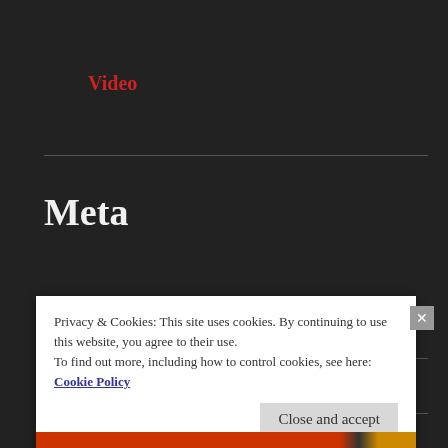Video
Meta
Register
Log in
Entries feed
Privacy & Cookies: This site uses cookies. By continuing to use this website, you agree to their use.
To find out more, including how to control cookies, see here: Cookie Policy
Close and accept